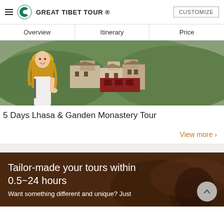GREAT TIBET TOUR ®  CUSTOMIZE
Overview  Itinerary  Price
[Figure (photo): Photo of a young woman with long blonde hair in a white top, smiling and giving a thumbs up in front of a Tibetan monastery complex built into a hillside covered with green trees.]
5 Days Lhasa & Ganden Monastery Tour
View more ›
[Figure (photo): Dark brown promotional banner with text overlay: Tailor-made your tours within 0.5~24 hours. Want something different and unique? Just]
Tailor-made your tours within 0.5~24 hours
Want something different and unique? Just